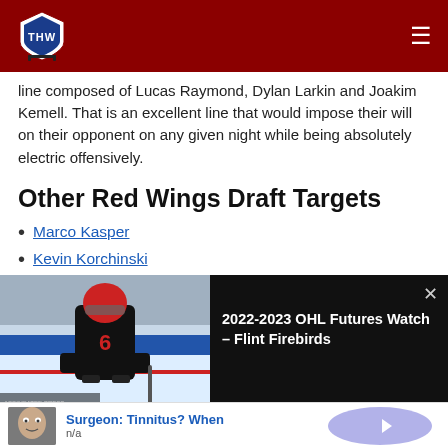THW - The Hockey Writers
line composed of Lucas Raymond, Dylan Larkin and Joakim Kemell. That is an excellent line that would impose their will on their opponent on any given night while being absolutely electric offensively.
Other Red Wings Draft Targets
Marco Kasper
Kevin Korchinski
[Figure (photo): Hockey player wearing jersey number 6 in a black and red uniform on the ice]
[Figure (screenshot): Video panel with title: 2022-2023 OHL Futures Watch - Flint Firebirds, with close button]
Kemell at eighth overall this year? Do you think his struggles
[Figure (photo): Advertisement: Surgeon: Tinnitus? When, n/a, with thumbnail and arrow button]